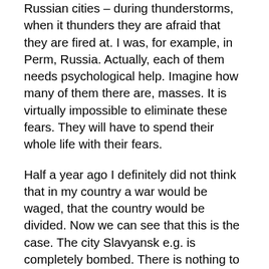Russian cities – during thunderstorms, when it thunders they are afraid that they are fired at. I was, for example, in Perm, Russia. Actually, each of them needs psychological help. Imagine how many of them there are, masses. It is virtually impossible to eliminate these fears. They will have to spend their whole life with their fears.
Half a year ago I definitely did not think that in my country a war would be waged, that the country would be divided. Now we can see that this is the case. The city Slavyansk e.g. is completely bombed. There is nothing to repair: you have to rebuild it completely. And that in a poverty-stricken country. Now from these poor people, like teachers, from their salary of 1,500-2,000 hryvnia is deducted; partly for the financing of the army although one cannot feed oneself by this money anyway. Plus, everything has become even more expensive from bread to the living